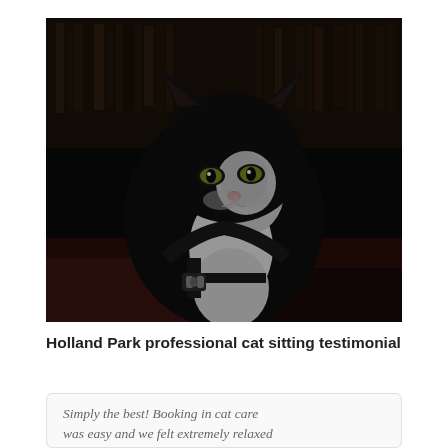[Figure (photo): A black and white tuxedo cat wearing a black harness, sitting in a dark room with bookshelves in the background, looking directly at the camera with yellow-green eyes.]
Holland Park professional cat sitting testimonial
Simply the best! Booking in cat care was easy and we felt extremely relaxed